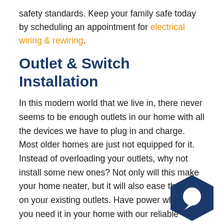safety standards. Keep your family safe today by scheduling an appointment for electrical wiring & rewiring.
Outlet & Switch Installation
In this modern world that we live in, there never seems to be enough outlets in our home with all the devices we have to plug in and charge. Most older homes are just not equipped for it. Instead of overloading your outlets, why not install some new ones? Not only will this make your home neater, but it will also ease the strain on your existing outlets. Have power whenever you need it in your home with our reliable electrical outlet & switch installation services. Homes located around water might be better served with a GFCI outlet installation service. These unique outlets help monitor the electrical currents that pass through a circuit and electricity from going where it shouldn't, keeping your family safe.
[Figure (illustration): Blue hexagon-shaped chat widget icon in the bottom right corner of the page]